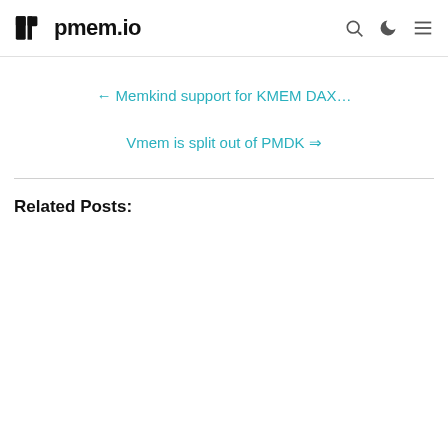pmem.io
← Memkind support for KMEM DAX…
Vmem is split out of PMDK ⇒
Related Posts: